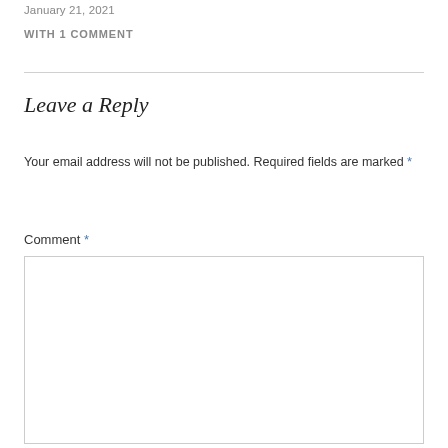January 21, 2021
WITH 1 COMMENT
Leave a Reply
Your email address will not be published. Required fields are marked *
Comment *